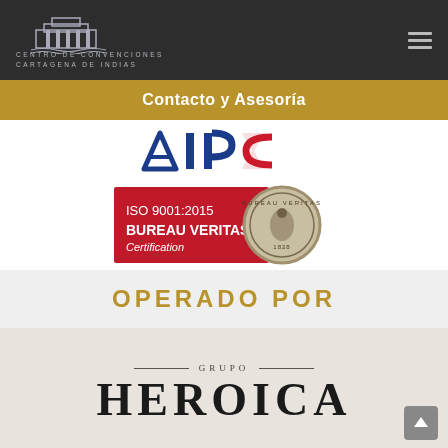Centro de Convenciones Cartagena de Indias
[Figure (logo): Centro de Convenciones Cartagena de Indias building logo with text]
Contacto y Asesoría
[Figure (logo): AIPC logo in navy blue and red]
[Figure (logo): ISO 9001:2015 Bureau Veritas Certification badge with seal, established 1828]
OPERADO POR
[Figure (logo): Grupo Heroica logo with decorative lines and serif typography]